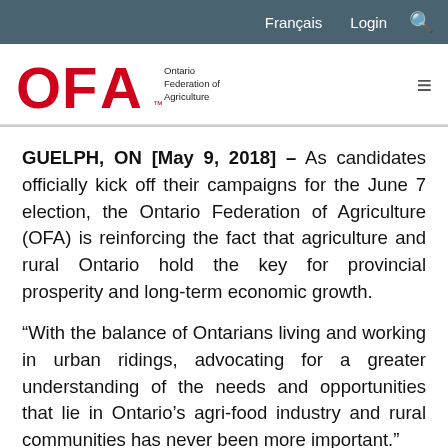Français   Login   🔍
[Figure (logo): OFA – Ontario Federation of Agriculture logo with red letters and hamburger menu icon]
GUELPH, ON [May 9, 2018] – As candidates officially kick off their campaigns for the June 7 election, the Ontario Federation of Agriculture (OFA) is reinforcing the fact that agriculture and rural Ontario hold the key for provincial prosperity and long-term economic growth.
“With the balance of Ontarians living and working in urban ridings, advocating for a greater understanding of the needs and opportunities that lie in Ontario’s agri-food industry and rural communities has never been more important.”